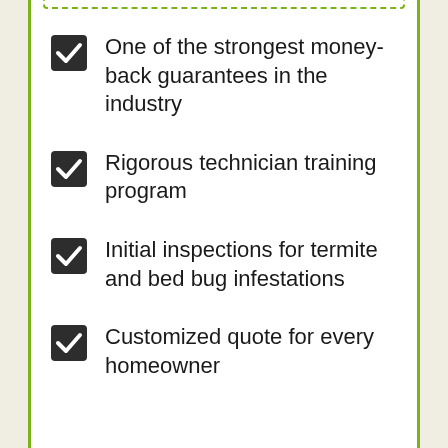One of the strongest money-back guarantees in the industry
Rigorous technician training program
Initial inspections for termite and bed bug infestations
Customized quote for every homeowner
Back
To Top
[Figure (logo): Orkin pest control logo — red diamond shape with ORKIN text in white bold letters]